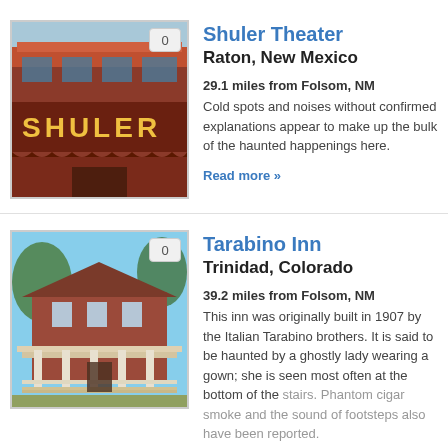[Figure (photo): Exterior photo of Shuler Theater building with 'SHULER' sign on brick facade]
Shuler Theater
Raton, New Mexico
29.1 miles from Folsom, NM
Cold spots and noises without confirmed explanations appear to make up the bulk of the haunted happenings here.
Read more »
[Figure (photo): Exterior photo of Tarabino Inn, a historic building with columns and porch]
Tarabino Inn
Trinidad, Colorado
39.2 miles from Folsom, NM
This inn was originally built in 1907 by the Italian Tarabino brothers. It is said to be haunted by a ghostly lady wearing a gown; she is seen most often at the bottom of the stairs. Phantom cigar smoke and the sound of footsteps also have been reported.